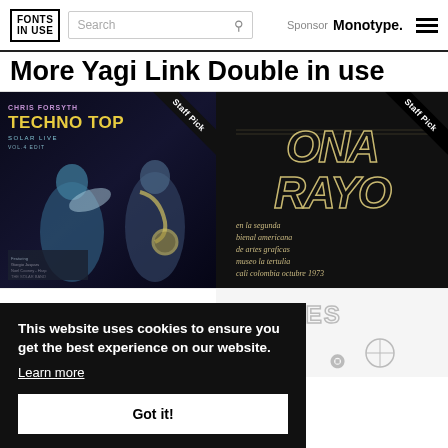FONTS IN USE — Search — Sponsor Monotype.
More Yagi Link Double in use
[Figure (photo): Album cover: Chris Forsyth Techno Top Solar Live Vol.4 EDIT with Staff Pick badge]
[Figure (photo): Album/poster: Ona Rayo en la segunda bienal americana de artes graficas museo la tertulia cali colombia octubre 1973 with Staff Pick badge]
[Figure (illustration): Yagi Link Double text logo in chunky block letters]
[Figure (illustration): Stripes text and other font specimens]
This website uses cookies to ensure you get the best experience on our website.
Learn more
Got it!